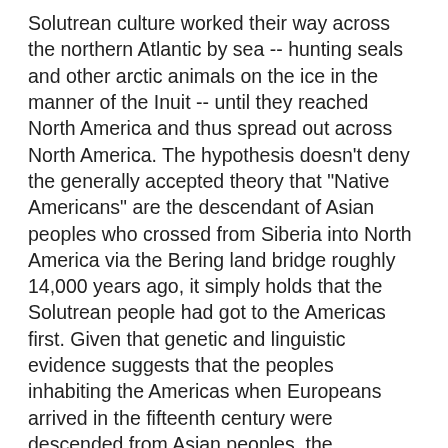Solutrean culture worked their way across the northern Atlantic by sea -- hunting seals and other arctic animals on the ice in the manner of the Inuit -- until they reached North America and thus spread out across North America. The hypothesis doesn't deny the generally accepted theory that "Native Americans" are the descendant of Asian peoples who crossed from Siberia into North America via the Bering land bridge roughly 14,000 years ago, it simply holds that the Solutrean people had got to the Americas first. Given that genetic and linguistic evidence suggests that the peoples inhabiting the Americas when Europeans arrived in the fifteenth century were descended from Asian peoples, the assumption would presumably be that the Solutrean people died out or were genetically overwhelmed by a much larger population with an Asian ancestry.
The two biggest current proponents of the Solutrean Hypothesis, Dennis Stanford and Bruce Bradley, have a book coming out next month in which they put forward their case: Across Atlantic Ice: The Origin of America's Clovis Culture . My initial impression, reading around, is that the case is kind of thin, though I'm intrigued enough that I may